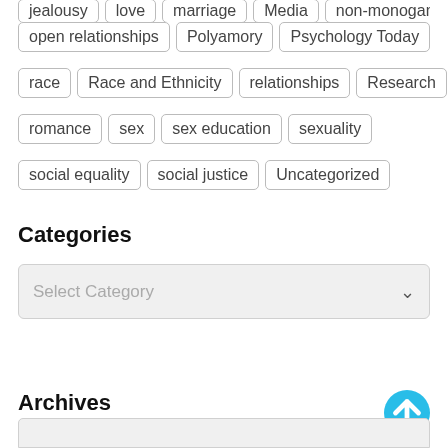jealousy  love  marriage  Media  non-monogamy
open relationships  Polyamory  Psychology Today
race  Race and Ethnicity  relationships  Research
romance  sex  sex education  sexuality
social equality  social justice  Uncategorized
Categories
Select Category
Archives